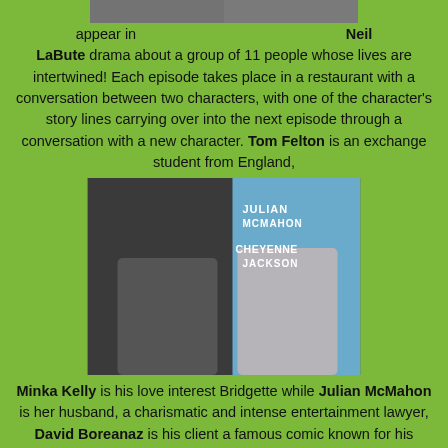[Figure (photo): Top portion of a photo showing two people, partially cropped at top]
appear in  Neil LaBute drama about a group of 11 people whose lives are intertwined! Each episode takes place in a restaurant with a conversation between two characters, with one of the character's story lines carrying over into the next episode through a conversation with a new character. Tom Felton is an exchange student from England,
[Figure (photo): Promotional photo showing Julian McMahon on the left in a gray t-shirt and Cheyenne Jackson on the right in an open pink shirt, with their names labeled in white text]
Minka Kelly is his love interest Bridgette while Julian McMahon is her husband, a charismatic and intense entertainment lawyer, David Boreanaz is his client a famous comic known for his